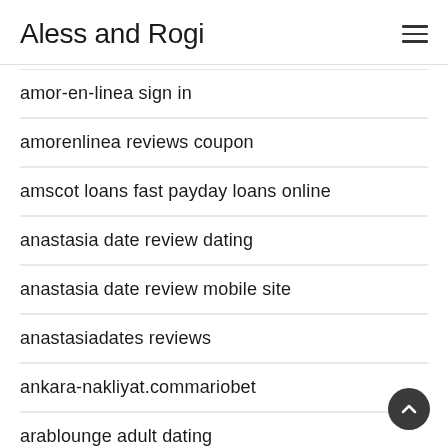Aless and Rogi
amor-en-linea sign in
amorenlinea reviews coupon
amscot loans fast payday loans online
anastasia date review dating
anastasia date review mobile site
anastasiadates reviews
ankara-nakliyat.commariobet
arablounge adult dating